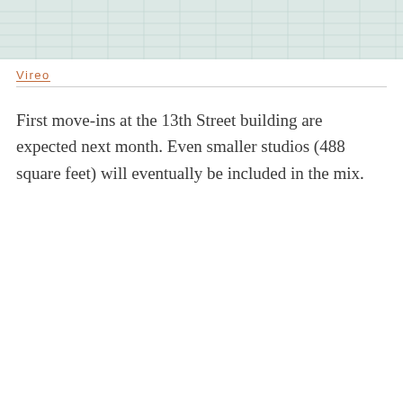[Figure (other): Light teal/green graph paper grid background image at the top of the page]
Vireo
First move-ins at the 13th Street building are expected next month. Even smaller studios (488 square feet) will eventually be included in the mix.